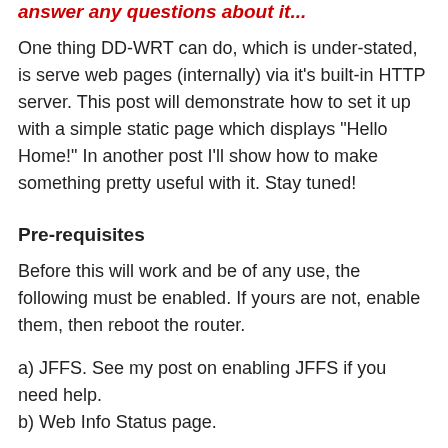answer any questions about it...
One thing DD-WRT can do, which is under-stated, is serve web pages (internally) via it's built-in HTTP server. This post will demonstrate how to set it up with a simple static page which displays "Hello Home!" In another post I'll show how to make something pretty useful with it. Stay tuned!
Pre-requisites
Before this will work and be of any use, the following must be enabled. If yours are not, enable them, then reboot the router.
a) JFFS. See my post on enabling JFFS if you need help.
b) Web Info Status page.
Storage and Access